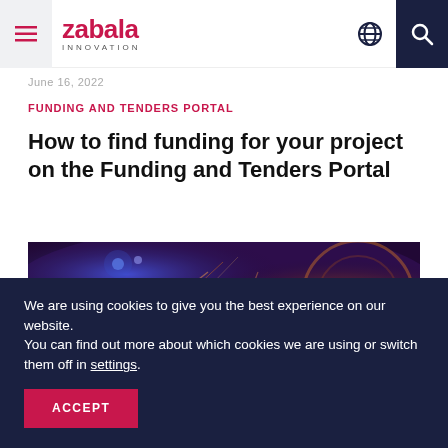zabala INNOVATION
June 16, 2022
FUNDING AND TENDERS PORTAL
How to find funding for your project on the Funding and Tenders Portal
[Figure (photo): Aerial night view of illuminated city highway interchange with blue and purple lighting]
We are using cookies to give you the best experience on our website.
You can find out more about which cookies we are using or switch them off in settings.